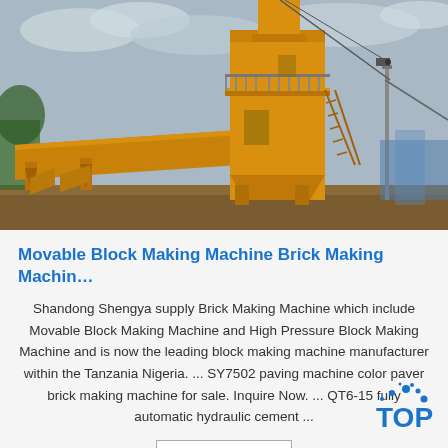[Figure (photo): Large yellow industrial movable block making / brick making machine on a construction site with overcast sky. The machine has a tall tower structure with stairs, a wide conveyor belt section, and hopper bins at the base.]
Movable Block Making Machine Brick Making Machin…
Shandong Shengya supply Brick Making Machine which include Movable Block Making Machine and High Pressure Block Making Machine and is now the leading block making machine manufacturer within the Tanzania Nigeria. ... SY7502 paving machine color paver brick making machine for sale. Inquire Now. ... QT6-15 fully automatic hydraulic cement ...